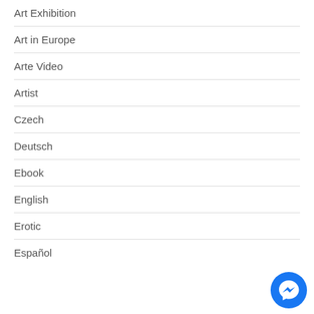Art Exhibition
Art in Europe
Arte Video
Artist
Czech
Deutsch
Ebook
English
Erotic
Español
[Figure (illustration): Facebook Messenger chat button, circular blue icon with white lightning bolt messenger logo, bottom right corner]